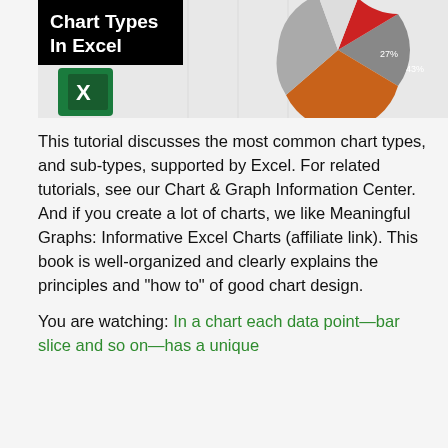[Figure (screenshot): Thumbnail image showing 'Chart Types In Excel' text on black background with Excel logo and a partial pie chart showing 27% and 43% slices in gray, red, and orange]
This tutorial discusses the most common chart types, and sub-types, supported by Excel. For related tutorials, see our Chart & Graph Information Center. And if you create a lot of charts, we like Meaningful Graphs: Informative Excel Charts (affiliate link). This book is well-organized and clearly explains the principles and "how to" of good chart design.
You are watching: In a chart each data point—bar slice and so on—has a unique